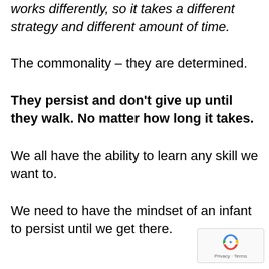works differently, so it takes a different strategy and different amount of time.
The commonality – they are determined.
They persist and don't give up until they walk. No matter how long it takes.
We all have the ability to learn any skill we want to.
We need to have the mindset of an infant to persist until we get there.